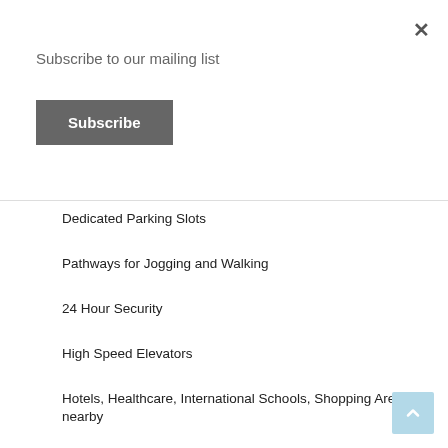Subscribe to our mailing list
Subscribe
Dedicated Parking Slots
Pathways for Jogging and Walking
24 Hour Security
High Speed Elevators
Hotels, Healthcare, International Schools, Shopping Areas nearby
Sauna and Steam Rooms
Cafes and Restaurants
Sporting Stadiums and Academies
Swimming Pool